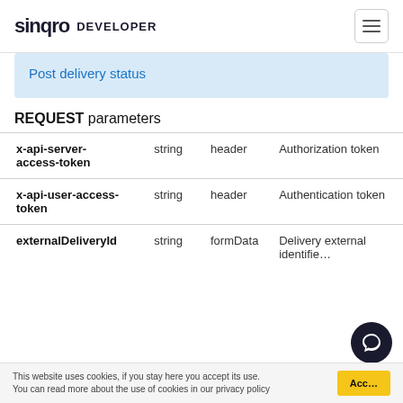sinqro DEVELOPER
Post delivery status
REQUEST parameters
| Parameter | Type | Location | Description |
| --- | --- | --- | --- |
| x-api-server-access-token | string | header | Authorization token |
| x-api-user-access-token | string | header | Authentication token |
| externalDeliveryId | string | formData | Delivery external identifier |
This website uses cookies, if you stay here you accept its use. You can read more about the use of cookies in our privacy policy